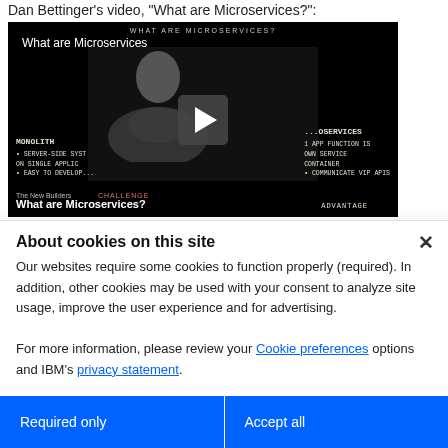Dan Bettinger's video, "What are Microservices?":
[Figure (screenshot): Video thumbnail/player for 'What are Microservices?' by Dan Bettinger, showing a presenter in front of a chalkboard with Monolith vs Microservices comparison. A play button is visible in the center. Bottom bar shows 'The New Builders' label and 'What are Microservices?' title.]
About cookies on this site
Our websites require some cookies to function properly (required). In addition, other cookies may be used with your consent to analyze site usage, improve the user experience and for advertising.

For more information, please review your Cookie preferences options and IBM's privacy statement.
Required only
Accept all